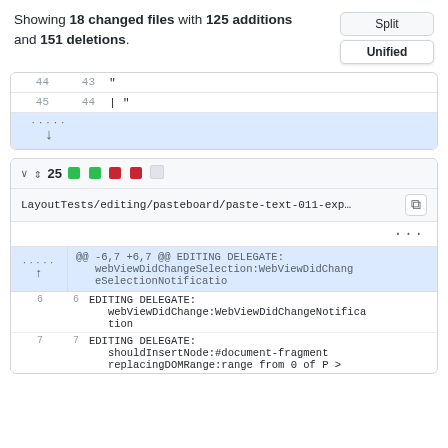Showing 18 changed files with 125 additions and 151 deletions.
[Figure (screenshot): Split/Unified toggle buttons]
| old_ln | new_ln | code |
| --- | --- | --- |
| 44 | 43 | " |
| 45 | 44 | | " |
|  |  | (expand row with down arrow) |
| controls | count | indicators | filename | action |
| --- | --- | --- | --- | --- |
| v ⇕ 25 | ■■■□ | LayoutTests/editing/pasteboard/paste-text-011-exp… | copy |  |
|  |  | ... |  |  |
| (expand up) | @@ -6,7 +6,7 @@ EDITING DELEGATE: webViewDidChangeSelection:WebViewDidChangeSelectionNotificatio |  |  |  |
| 6 | 6 | EDITING DELEGATE:
webViewDidChange:WebViewDidChangeNotification |  |  |
| 7 | 7 | EDITING DELEGATE:
shouldInsertNode:#document-fragment replacingDOMRange:range from 0 of P > |  |  |